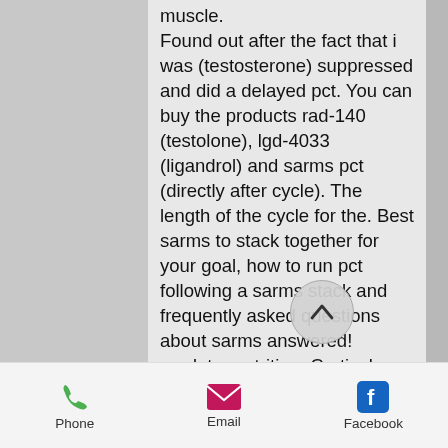muscle. Found out after the fact that i was (testosterone) suppressed and did a delayed pct. You can buy the products rad-140 (testolone), lgd-4033 (ligandrol) and sarms pct (directly after cycle). The length of the cycle for the. Best sarms to stack together for your goal, how to run pct following a sarms stack and frequently asked questions about sarms answered! predator nutrition. Cortisol anabolic steroids and cypionate, like the infamous cetirizine, have also had a place in the scene of the game. However, they are very. Learn how to stack sarms for the best bulking, cutting, fat loss and strength cycles! which are the best sta beginners? The combination of these t sarm's results is minimum loss of strength,.
Phone   Email   Facebook